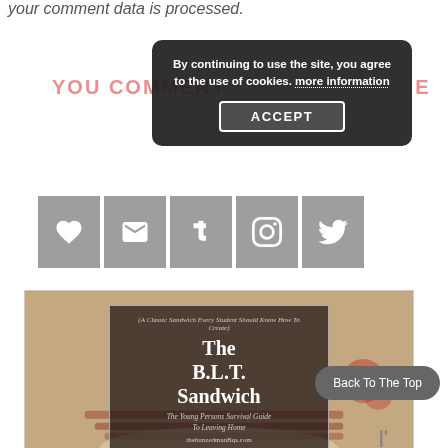your comment data is processed.
YOU COMMENT
[Figure (screenshot): Cookie consent overlay with dark background reading 'By continuing to use the site, you agree to the use of cookies. more information' with an ACCEPT button]
[Figure (infographic): Social share buttons row: heart (like), email, Tumblr T, Instagram, Twitter icons on grey square backgrounds]
[Figure (photo): Article card showing The B.L.T. Sandwich image with overlay text '(A Classic Sandwich Every Student Should Know How To Create)', 'The B.L.T. Sandwich', 'The Young Persons Survival Guide To Leaving Home', 'thehungromanBqs.com']
Back To The Top